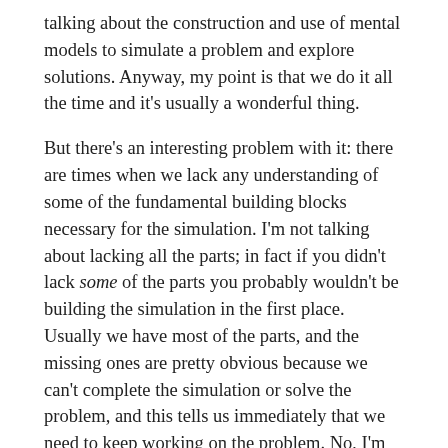talking about the construction and use of mental models to simulate a problem and explore solutions. Anyway, my point is that we do it all the time and it's usually a wonderful thing.
But there's an interesting problem with it: there are times when we lack any understanding of some of the fundamental building blocks necessary for the simulation. I'm not talking about lacking all the parts; in fact if you didn't lack some of the parts you probably wouldn't be building the simulation in the first place. Usually we have most of the parts, and the missing ones are pretty obvious because we can't complete the simulation or solve the problem, and this tells us immediately that we need to keep working on the problem. No, I'm talking about times when we lack a fundamental building block of the simulation, and this problem is really interesting because it forms a blind spot: we actually are able to complete the simulation (or so we think) and arrive at an outcome, and there's no way to know that our simulation is completely flawed.